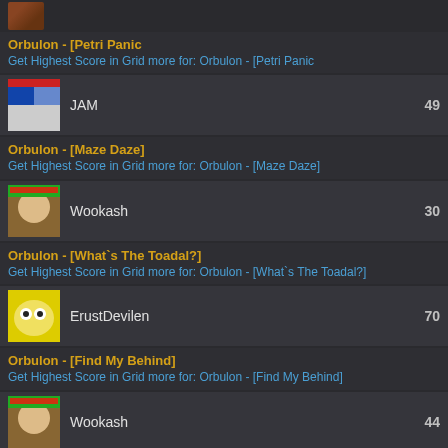[Figure (screenshot): Top avatar row partial]
Orbulon - [Petri Panic]
Get Highest Score in Grid more for: Orbulon - [Petri Panic]
JAM  49
Orbulon - [Maze Daze]
Get Highest Score in Grid more for: Orbulon - [Maze Daze]
Wookash  30
Orbulon - [What`s The Toadal?]
Get Highest Score in Grid more for: Orbulon - [What`s The Toadal?]
ErustDevilen  70
Orbulon - [Find My Behind]
Get Highest Score in Grid more for: Orbulon - [Find My Behind]
Wookash  44
Orbulon - [Cavity Calamity]
Get Highest Score in Grid more for: Orbulon - [Cavity Calamity]
intylab  44
Orbulon - [Sphinx Hijinks]
Get Highest Score in Grid more for: Orbulon - [Sphinx Hijinks]